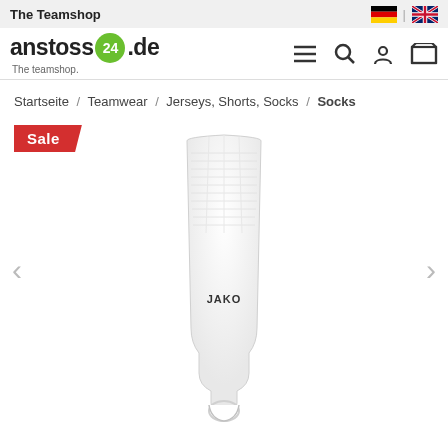The Teamshop
[Figure (logo): anstoss24.de The teamshop logo with green circle containing '24']
Startseite / Teamwear / Jerseys, Shorts, Socks / Socks
Sale
[Figure (photo): White JAKO football sock with loop at bottom, shown against white background. JAKO logo visible on sock.]